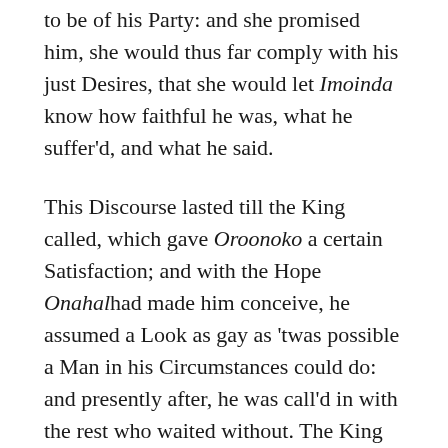to be of his Party: and she promised him, she would thus far comply with his just Desires, that she would let Imoinda know how faithful he was, what he suffer'd, and what he said.
This Discourse lasted till the King called, which gave Oroonoko a certain Satisfaction; and with the Hope Onahalhad made him conceive, he assumed a Look as gay as 'twas possible a Man in his Circumstances could do: and presently after, he was call'd in with the rest who waited without. The King commanded Musick to be brought, and several of his young Wives and Mistresses came all together by his Command, to dance before him; where Imoindaperform'd her Part with an Air and Grace so surpassing all the rest, as her Beauty was above 'em, and received the Present ordained as a Prize. The Prince was every Moment more charmed with the new Beauties and Graces he beheld in this